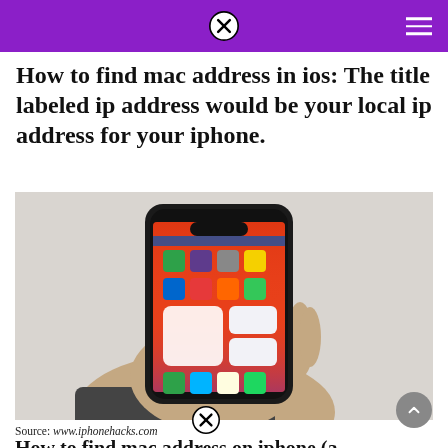How to find mac address in ios: The title labeled ip address would be your local ip address for your iphone.
[Figure (photo): A hand holding an iPhone displaying the iOS home screen with multiple app icons and widgets visible.]
Source: www.iphonehacks.com
How to find mac address on iphone (a